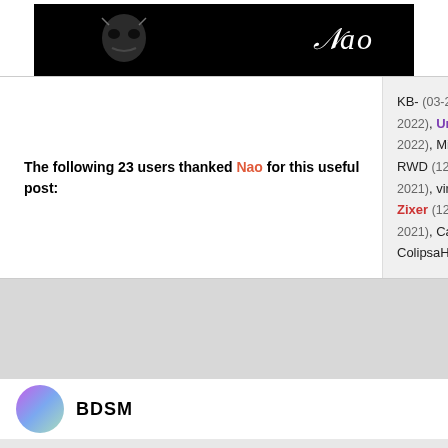[Figure (illustration): Black banner with stylized skull/mask graphic and decorative text 'Nao' in white italic font]
The following 23 users thanked Nao for this useful post:
KB- (03-21-2022), DBA (03-20-2022), UnknownKnight (03-05-2022), Milwaukee (01-08-2022), RWD (12-15-2021), Aquastra (12-14-2021), virtuosityv2 (12-11-2021), Zixer (12-10-2021), 9nty (12-07-2021), Calzyy (12-07-2021), ColipsaHD (12-
#2. Posted: Fri Nov 12, 2021 1:23 pm
BDSM